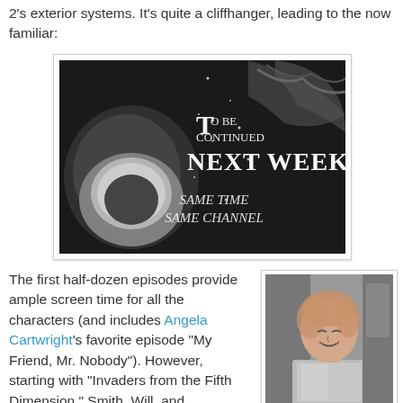2's exterior systems. It's quite a cliffhanger, leading to the now familiar:
[Figure (photo): Black and white TV screen still showing 'To Be Continued NEXT WEEK! SAME TIME SAME CHANNEL' with a person in a space helmet]
The first half-dozen episodes provide ample screen time for all the characters (and includes Angela Cartwright's favorite episode "My Friend, Mr. Nobody"). However, starting with "Invaders from the Fifth Dimension," Smith, Will, and the robot become the show's...
[Figure (photo): Black and white photo of a young red-haired boy smiling, wearing a metallic/shiny costume]